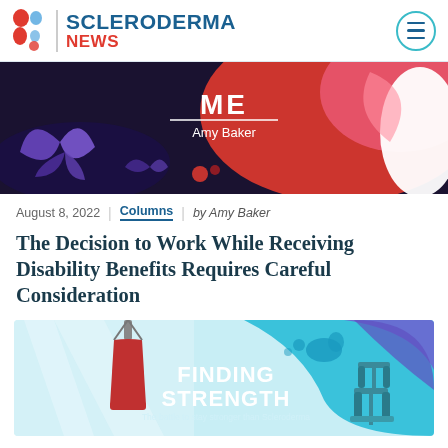Scleroderma News
[Figure (illustration): Decorative banner illustration with text ME by Amy Baker on a red/dark background with butterfly and leaf shapes]
August 8, 2022 | Columns | by Amy Baker
The Decision to Work While Receiving Disability Benefits Requires Careful Consideration
[Figure (illustration): Decorative banner illustration with boxing bag and dumbbells, text FINDING STRENGTH - The battle to stay stronger than Scleroderma]